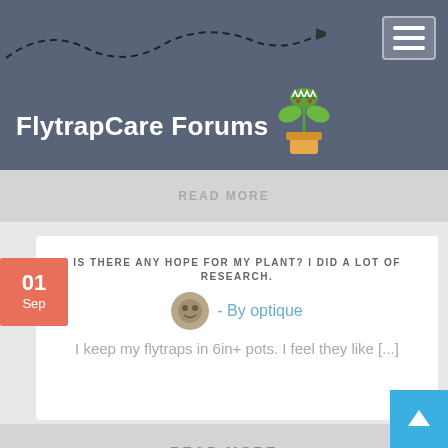FlytrapCare Forums
IS THERE ANY HOPE FOR MY PLANT? I DID A LOT OF RESEARCH.
- By optique
I keep my flytraps in 6in+ pots. I feel they like [...]
READ MORE
HAMATA X EDDY NOW OR PURE EDDY IN ROUGHLY A MONTH?
- By Bluefire
Hopefully. What I loved most about the Eddy I saw[...